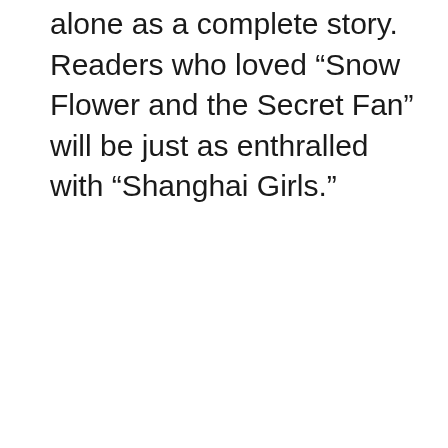alone as a complete story. Readers who loved “Snow Flower and the Secret Fan” will be just as enthralled with “Shanghai Girls.”